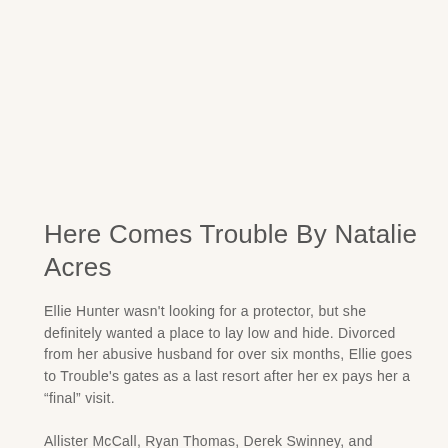Here Comes Trouble By Natalie Acres
Ellie Hunter wasn't looking for a protector, but she definitely wanted a place to lay low and hide. Divorced from her abusive husband for over six months, Ellie goes to Trouble's gates as a last resort after her ex pays her a “final” visit.
Allister McCall, Ryan Thomas, Derek Swinney, and Bradley Powers have known Ellie for the better part of their lives and the memory of sharing her is